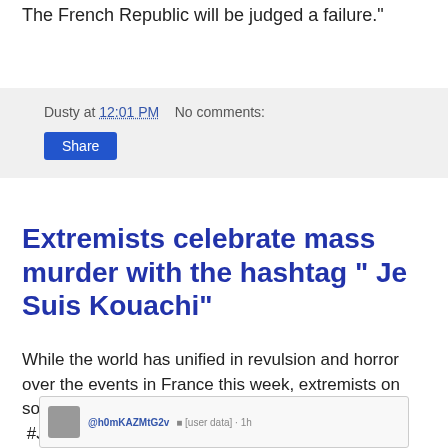The French Republic will be judged a failure."
Dusty at 12:01 PM   No comments:
Share
Extremists celebrate mass murder with the hashtag " Je Suis Kouachi"
While the world has unified in revulsion and horror over the events in France this week, extremists on social media have begun using the hashtag  #JeSuisKouachi in support of Said and Cherif Kouachi's terror attacks against the kuffar (That would be you and I)
[Figure (screenshot): Partial screenshot of a social media post or tweet, showing an avatar image and user handle text, cropped at the bottom of the page.]